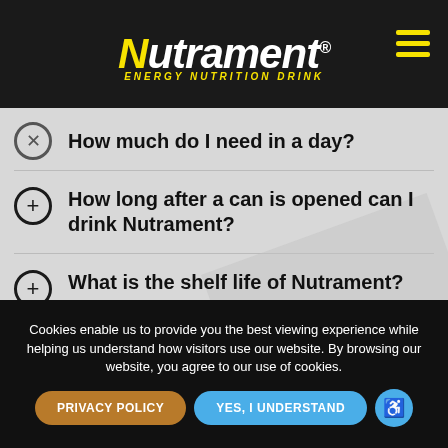[Figure (logo): Nutrament Energy Nutrition Drink logo — white italic text with yellow N, yellow subtitle text on dark background]
How much do I need in a day?
How long after a can is opened can I drink Nutrament?
What is the shelf life of Nutrament?
CONTACT US | TERMS OF USE | PRIVACY POLICY | ACCESSIBILITY STATEMENT
Cookies enable us to provide you the best viewing experience while helping us understand how visitors use our website. By browsing our website, you agree to our use of cookies.
PRIVACY POLICY   YES, I UNDERSTAND